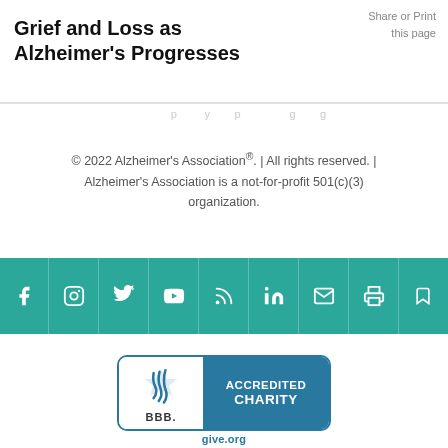Grief and Loss as Alzheimer's Progresses
Share or Print this page
© 2022 Alzheimer's Association®. | All rights reserved. | Alzheimer's Association is a not-for-profit 501(c)(3) organization.
[Figure (infographic): Teal social media icon bar with icons for Facebook, Instagram, Twitter, YouTube, RSS/blog, LinkedIn, Email, Print, and Bookmark]
[Figure (logo): BBB Accredited Charity badge with give.org text below]